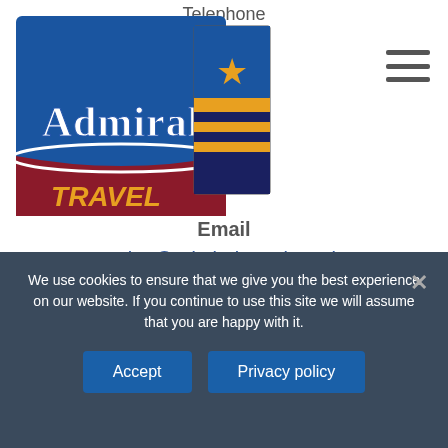Telephone
[Figure (logo): Admiral Travel logo — blue background with white 'Admiral' text and a gold star with navy/gold stripe badge on the right, red curved band at bottom with gold 'TRAVEL' text]
Email
sales@admiraltravel.co.uk
We use cookies to ensure that we give you the best experience on our website. If you continue to use this site we will assume that you are happy with it.
Accept
Privacy policy